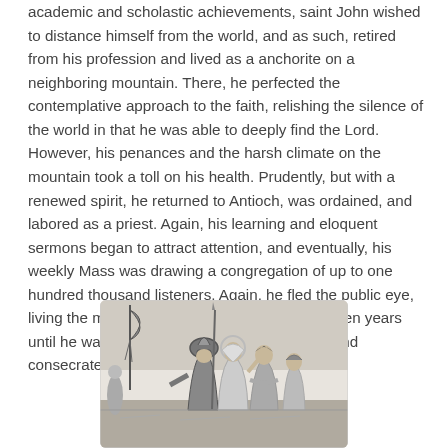academic and scholastic achievements, saint John wished to distance himself from the world, and as such, retired from his profession and lived as a anchorite on a neighboring mountain. There, he perfected the contemplative approach to the faith, relishing the silence of the world in that he was able to deeply find the Lord. However, his penances and the harsh climate on the mountain took a toll on his health. Prudently, but with a renewed spirit, he returned to Antioch, was ordained, and labored as a priest. Again, his learning and eloquent sermons began to attract attention, and eventually, his weekly Mass was drawing a congregation of up to one hundred thousand listeners. Again, he fled the public eye, living the monastic, contemplative life for fourteen years until he was forcibly taken to Constantinople, and consecrated as Patriarch and Bishop.
[Figure (illustration): A black and white engraving showing several figures in historical/religious dress. A central armored figure with a helmet is surrounded by robed individuals, one appearing to have a halo, suggesting a religious scene possibly depicting Saint John being taken to Constantinople.]